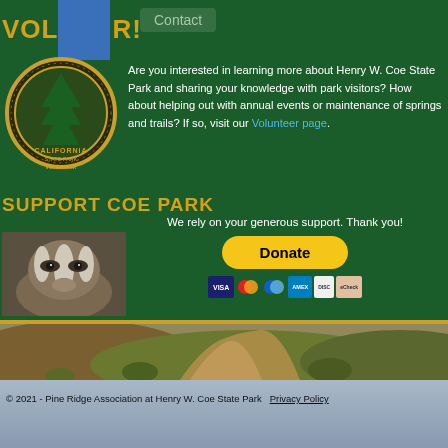VOLUNTEER! Contact
[Figure (photo): California State Park Volunteer patch/badge circular emblem with tree]
Are you interested in learning more about Henry W. Coe State Park and sharing your knowledge with park visitors? How about helping out with annual events or maintenance of springs and trails? If so, visit our Volunteer page.
SUPPORT COE PARK
We rely on your generous support. Thank you!
[Figure (photo): Close-up photo of a badger facing the camera]
[Figure (other): PayPal Donate button with credit card icons (Visa, Mastercard, etc.)]
[Figure (photo): Landscape photo of a dirt road through dry hills and brush]
© 2021 - Pine Ridge Association at Henry W. Coe State Park   Privacy Policy